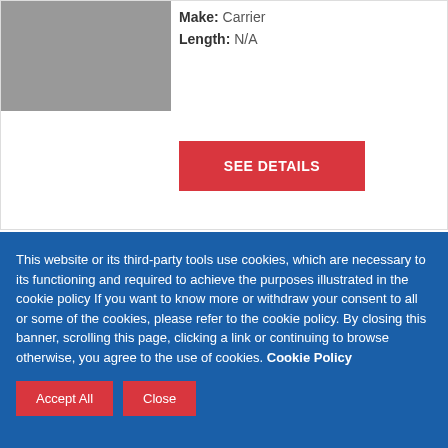[Figure (photo): Photo of a truck/vehicle unit (top card)]
Make: Carrier
Length: N/A
SEE DETAILS
GENSET
GENSET, Carrier (#GU 2238)
For Immediate Liquidation
[Figure (photo): Photo of a genset unit with FOR SALE badge]
This website or its third-party tools use cookies, which are necessary to its functioning and required to achieve the purposes illustrated in the cookie policy If you want to know more or withdraw your consent to all or some of the cookies, please refer to the cookie policy. By closing this banner, scrolling this page, clicking a link or continuing to browse otherwise, you agree to the use of cookies. Cookie Policy
Accept All
Close